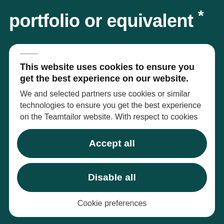portfolio or equivalent *
This website uses cookies to ensure you get the best experience on our website. We and selected partners use cookies or similar technologies to ensure you get the best experience on the Teamtailor website. With respect to cookies that are not considered
Accept all
Disable all
Cookie preferences